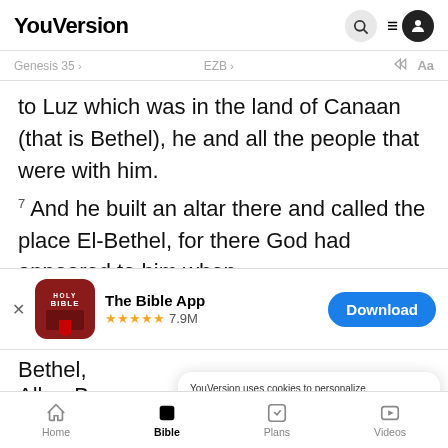YouVersion
Genesis 35 · EZB · [audio] · Aa
to Luz which was in the land of Canaan (that is Bethel), he and all the people that were with him.
7 And he built an altar there and called the place El-Bethel, for there God had appeared to him when
[Figure (screenshot): App download banner showing Holy Bible app icon, 'The Bible App' title, 5 star rating with 7.9M reviews, and a blue Download button]
Bethel,
Allon-B
YouVersion uses cookies to personalize your experience. By using our website, you accept our use of cookies as described in our Privacy Policy.
Home · Bible · Plans · Videos